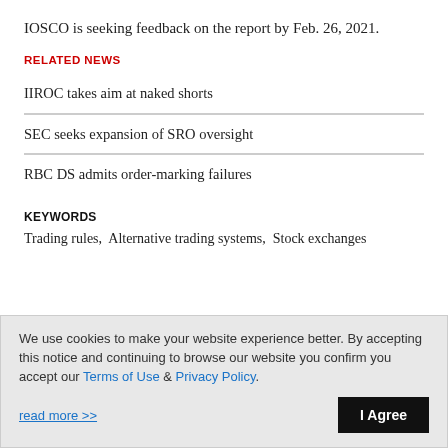IOSCO is seeking feedback on the report by Feb. 26, 2021.
RELATED NEWS
IIROC takes aim at naked shorts
SEC seeks expansion of SRO oversight
RBC DS admits order-marking failures
KEYWORDS
Trading rules,  Alternative trading systems,  Stock exchanges
We use cookies to make your website experience better. By accepting this notice and continuing to browse our website you confirm you accept our Terms of Use & Privacy Policy.
read more >>   I Agree